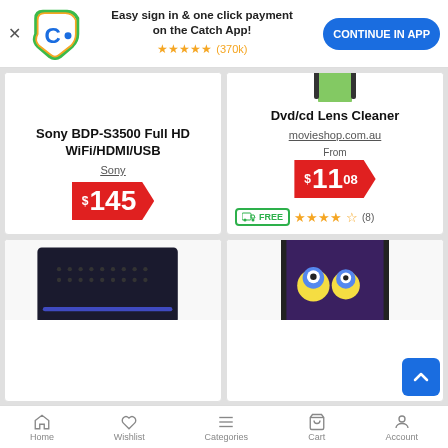[Figure (screenshot): Catch app promotional banner with logo, star rating (370k), and Continue In App button]
Sony BDP-S3500 Full HD WiFi/HDMI/USB
Sony
$145
Dvd/cd Lens Cleaner
movieshop.com.au
From $11.08
[Figure (other): Free shipping icon (truck with FREE label) and 4.5 star rating with (8) reviews]
[Figure (photo): Partially visible electronic device (set-top box) in bottom-left card]
[Figure (photo): Partially visible tablet device in bottom-right card]
Home  Wishlist  Categories  Cart  Account